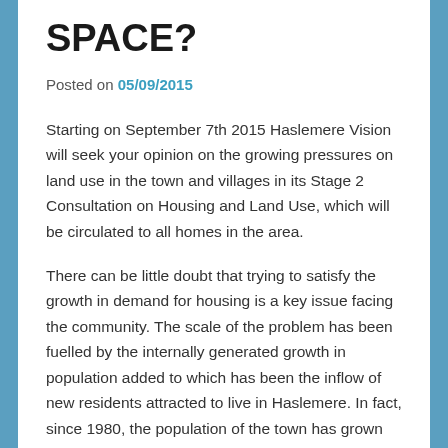SPACE?
Posted on 05/09/2015
Starting on September 7th 2015 Haslemere Vision will seek your opinion on the growing pressures on land use in the town and villages in its Stage 2 Consultation on Housing and Land Use, which will be circulated to all homes in the area.
There can be little doubt that trying to satisfy the growth in demand for housing is a key issue facing the community. The scale of the problem has been fuelled by the internally generated growth in population added to which has been the inflow of new residents attracted to live in Haslemere. In fact, since 1980, the population of the town has grown faster than at any previous time, even including the period when the town was transformed by the railway age. But it has not stopped there; local demographic factors alone will generate a high level of demand for housing through to 2031.